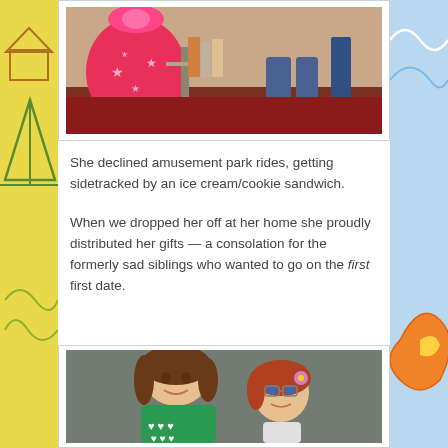[Figure (photo): Photo showing pink clothing/merchandise on a display shelf with a person sitting on a red carpet in the background]
She declined amusement park rides, getting sidetracked by an ice cream/cookie sandwich.
When we dropped her off at her home she proudly distributed her gifts — a consolation for the formerly sad siblings who wanted to go on the first first date.
[Figure (photo): Photo of a young girl in a green heart-print shirt posing with an American Girl doll with red hair and glasses]